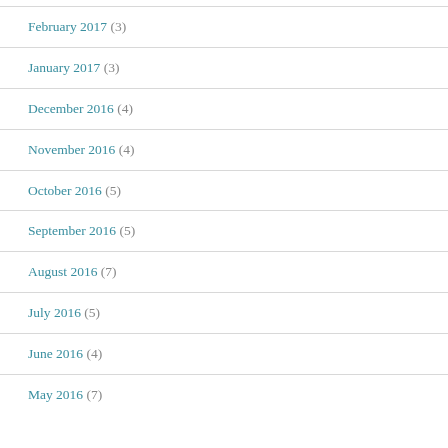February 2017 (3)
January 2017 (3)
December 2016 (4)
November 2016 (4)
October 2016 (5)
September 2016 (5)
August 2016 (7)
July 2016 (5)
June 2016 (4)
May 2016 (7)